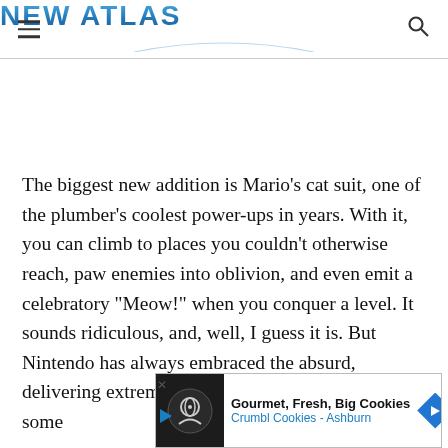NEW ATLAS
The biggest new addition is Mario's cat suit, one of the plumber's coolest power-ups in years. With it, you can climb to places you couldn't otherwise reach, paw enemies into oblivion, and even emit a celebratory "Meow!" when you conquer a level. It sounds ridiculous, and, well, I guess it is. But Nintendo has always embraced the absurd, delivering extremely well-crafted games that somehow...
[Figure (other): Advertisement banner for Crumbl Cookies - Ashburn: Gourmet, Fresh, Big Cookies]